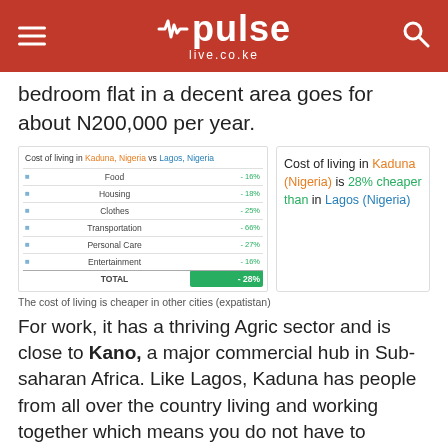pulse live.co.ke
bedroom flat in a decent area goes for about N200,000 per year.
[Figure (table-as-image): Cost of living comparison table: Kaduna, Nigeria vs Lagos, Nigeria. Categories: Food (-16%), Housing (-18%), Clothes (-25%), Transportation (-66%), Personal Care (-27%), Entertainment (-16%), TOTAL (-28%)]
Cost of living in Kaduna (Nigeria) is 28% cheaper than in Lagos (Nigeria)
The cost of living is cheaper in other cities (expatistan)
For work, it has a thriving Agric sector and is close to Kano, a major commercial hub in Sub-saharan Africa. Like Lagos, Kaduna has people from all over the country living and working together which means you do not have to